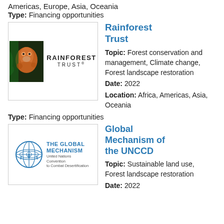Americas, Europe, Asia, Oceania
Type: Financing opportunities
[Figure (logo): Rainforest Trust logo with jaguar image and text RAINFOREST TRUST]
Rainforest Trust
Topic: Forest conservation and management, Climate change, Forest landscape restoration
Date: 2022
Location: Africa, Americas, Asia, Oceania
Type: Financing opportunities
[Figure (logo): The Global Mechanism logo with UN emblem and text THE GLOBAL MECHANISM, United Nations Convention to Combat Desertification]
Global Mechanism of the UNCCD
Topic: Sustainable land use, Forest landscape restoration
Date: 2022